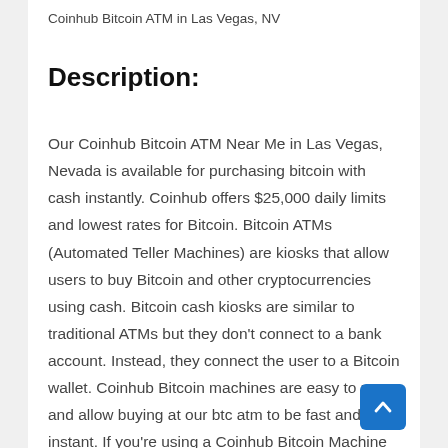Coinhub Bitcoin ATM in Las Vegas, NV
Description:
Our Coinhub Bitcoin ATM Near Me in Las Vegas, Nevada is available for purchasing bitcoin with cash instantly. Coinhub offers $25,000 daily limits and lowest rates for Bitcoin. Bitcoin ATMs (Automated Teller Machines) are kiosks that allow users to buy Bitcoin and other cryptocurrencies using cash. Bitcoin cash kiosks are similar to traditional ATMs but they don't connect to a bank account. Instead, they connect the user to a Bitcoin wallet. Coinhub Bitcoin machines are easy to use and allow buying at our btc atm to be fast and instant. If you're using a Coinhub Bitcoin Machine near me, you can definitely get cash from it. Many Coinhub Bitcoin ATMs allow you to buy and sell cryptocurrency for cash. You can buy Bitcoin